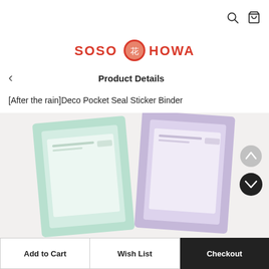SOSO HOWA (logo with search and cart icons)
Product Details
[After the rain]Deco Pocket Seal Sticker Binder
[Figure (photo): Two sticker binders side by side — one mint green and one lavender/purple — photographed on a white background. Both are rectangular binders with clear pockets on the front.]
Add to Cart | Wish List | Checkout